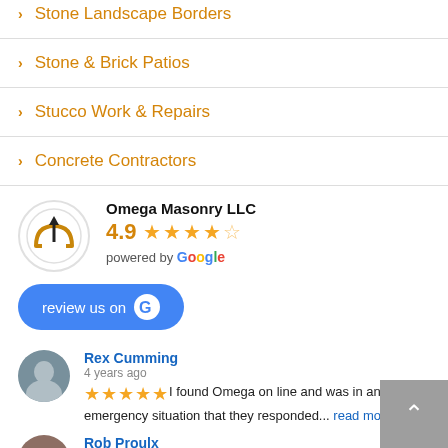Stone Landscape Borders
Stone & Brick Patios
Stucco Work & Repairs
Concrete Contractors
Omega Masonry LLC — 4.9 rating — powered by Google
review us on Google
Rex Cumming — 4 years ago — I found Omega on line and was in an emergency situation that they responded... read more
Rob Proulx — 4 years ago — Omega worked a leak above a...